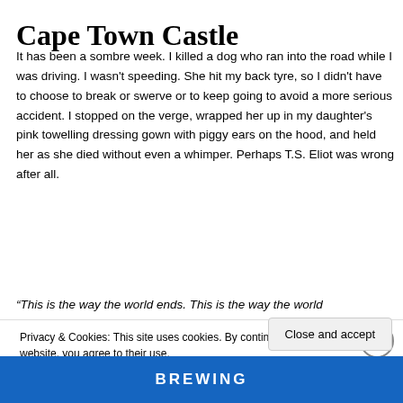Cape Town Castle
It has been a sombre week. I killed a dog who ran into the road while I was driving. I wasn't speeding. She hit my back tyre, so I didn't have to choose to break or swerve or to keep going to avoid a more serious accident. I stopped on the verge, wrapped her up in my daughter's pink towelling dressing gown with piggy ears on the hood, and held her as she died without even a whimper. Perhaps T.S. Eliot was wrong after all.
“This is the way the world ends. This is the way the world
Privacy & Cookies: This site uses cookies. By continuing to use this website, you agree to their use.
To find out more, including how to control cookies, see here: Cookie Policy
Close and accept
BREWING